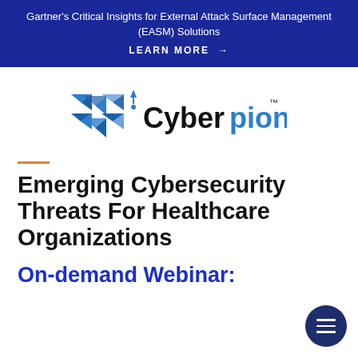Gartner's Critical Insights for External Attack Surface Management (EASM) Solutions
LEARN MORE →
[Figure (logo): Cyberpion logo: blue geometric diamond/shield shapes on the left, followed by the word 'Cyberpion' in black and blue bold text with a trademark symbol]
Emerging Cybersecurity Threats For Healthcare Organizations
On-demand Webinar: